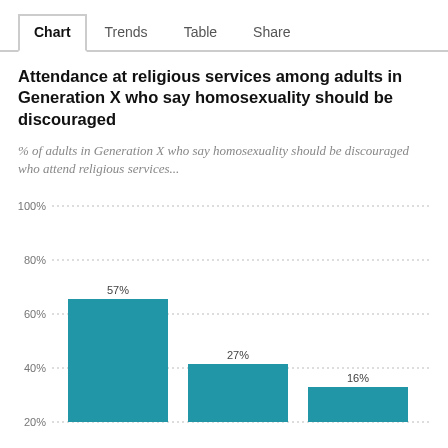Chart  Trends  Table  Share
Attendance at religious services among adults in Generation X who say homosexuality should be discouraged
% of adults in Generation X who say homosexuality should be discouraged who attend religious services...
[Figure (bar-chart): Attendance at religious services among adults in Generation X who say homosexuality should be discouraged]